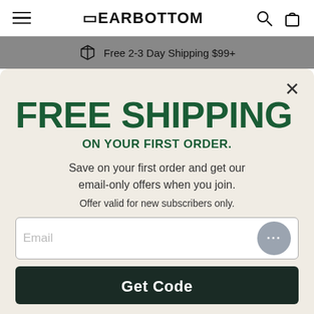DEARBOTTOM — navigation bar with hamburger menu, logo, search and cart icons
Free 2-3 Day Shipping $99+
FREE SHIPPING
ON YOUR FIRST ORDER.
Save on your first order and get our email-only offers when you join.
Offer valid for new subscribers only.
Email (input field)
Get Code (button)